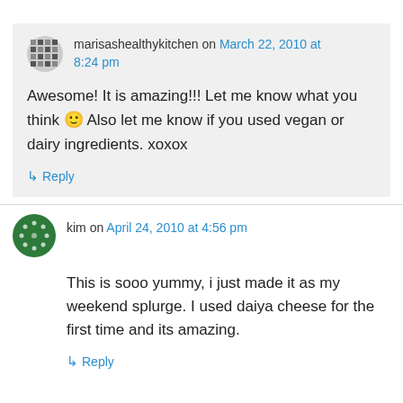marisashealthykitchen on March 22, 2010 at 8:24 pm
Awesome! It is amazing!!! Let me know what you think 🙂 Also let me know if you used vegan or dairy ingredients. xoxox
Reply
kim on April 24, 2010 at 4:56 pm
This is sooo yummy, i just made it as my weekend splurge. I used daiya cheese for the first time and its amazing.
Reply